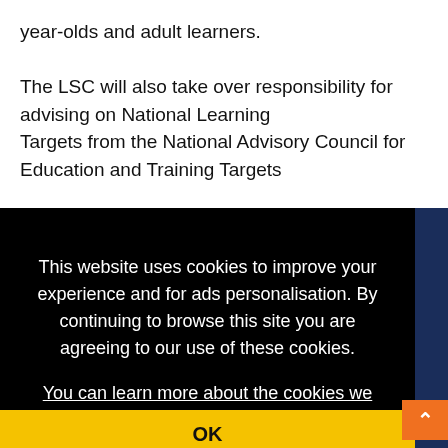year-olds and adult learners.
The LSC will also take over responsibility for advising on National Learning Targets from the National Advisory Council for Education and Training Targets
This website uses cookies to improve your experience and for ads personalisation. By continuing to browse this site you are agreeing to our use of these cookies. You can learn more about the cookies we use here.
OK